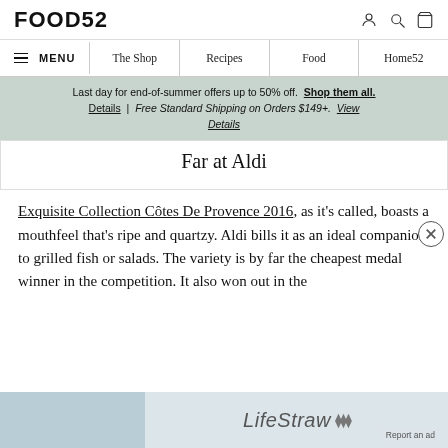FOOD52
≡ MENU  |  The Shop  |  Recipes  |  Food  |  Home52
Last day for end-of-summer offers up to 50% off. Shop them all. Details | Free Standard Shipping on Orders $149+. View Details
Far at Aldi
Exquisite Collection Côtes De Provence 2016, as it's called, boasts a mouthfeel that's ripe and quartzy. Aldi bills it as an ideal companion to grilled fish or salads. The variety is by far the cheapest medal winner in the competition. It also won out in the
[Figure (screenshot): LifeStraw advertisement banner at the bottom of the page with 'Report an ad' overlay]